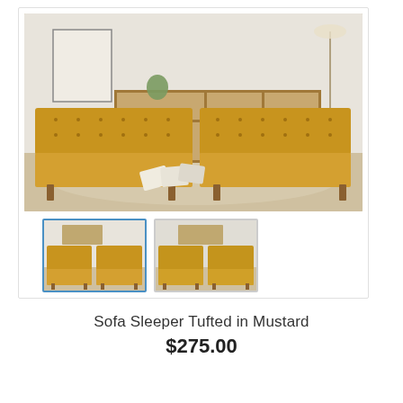[Figure (photo): Main product photo of a mustard yellow tufted sofa sleeper in a living room setting with wood shelving unit, lamp, and decorative pillows on a rug. Two thumbnail images below showing the same sofa from different angles.]
Sofa Sleeper Tufted in Mustard
$275.00